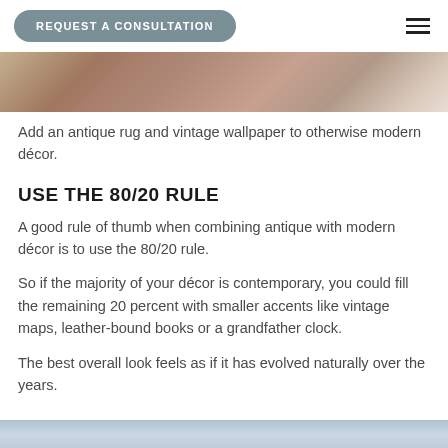REQUEST A CONSULTATION
[Figure (photo): Interior room photo showing an antique rug on hardwood floor with a woven basket visible]
Add an antique rug and vintage wallpaper to otherwise modern décor.
USE THE 80/20 RULE
A good rule of thumb when combining antique with modern décor is to use the 80/20 rule.
So if the majority of your décor is contemporary, you could fill the remaining 20 percent with smaller accents like vintage maps, leather-bound books or a grandfather clock.
The best overall look feels as if it has evolved naturally over the years.
[Figure (photo): Bottom partial photo showing a bedroom or living space interior]